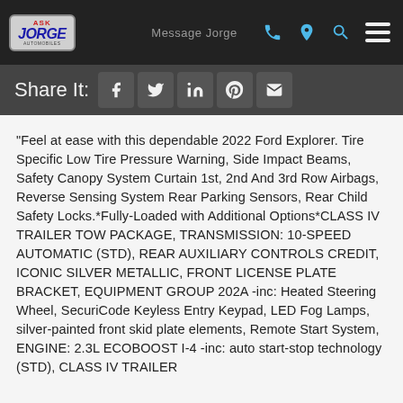Ask Jorge | Message Jorge
Share It:
"Feel at ease with this dependable 2022 Ford Explorer. Tire Specific Low Tire Pressure Warning, Side Impact Beams, Safety Canopy System Curtain 1st, 2nd And 3rd Row Airbags, Reverse Sensing System Rear Parking Sensors, Rear Child Safety Locks.*Fully-Loaded with Additional Options*CLASS IV TRAILER TOW PACKAGE, TRANSMISSION: 10-SPEED AUTOMATIC (STD), REAR AUXILIARY CONTROLS CREDIT, ICONIC SILVER METALLIC, FRONT LICENSE PLATE BRACKET, EQUIPMENT GROUP 202A -inc: Heated Steering Wheel, SecuriCode Keyless Entry Keypad, LED Fog Lamps, silver-painted front skid plate elements, Remote Start System, ENGINE: 2.3L ECOBOOST I-4 -inc: auto start-stop technology (STD), CLASS IV TRAILER